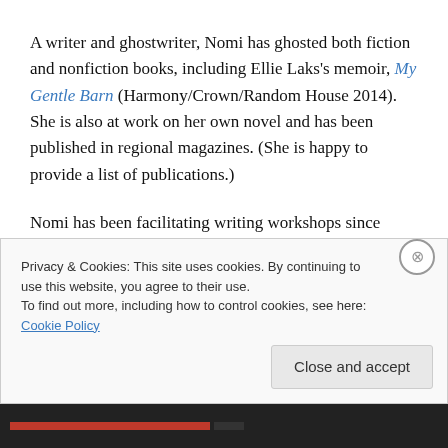A writer and ghostwriter, Nomi has ghosted both fiction and nonfiction books, including Ellie Laks's memoir, My Gentle Barn (Harmony/Crown/Random House 2014). She is also at work on her own novel and has been published in regional magazines. (She is happy to provide a list of publications.)
Nomi has been facilitating writing workshops since 2001. She has created workshops for numerous organizations, including UCLArts & Healing, UCLA Extension, and Art of
Privacy & Cookies: This site uses cookies. By continuing to use this website, you agree to their use.
To find out more, including how to control cookies, see here: Cookie Policy
Close and accept